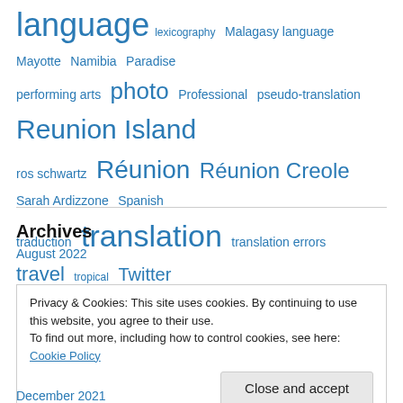language lexicography Malagasy language Mayotte Namibia Paradise performing arts photo Professional pseudo-translation Reunion Island ros schwartz Réunion Réunion Creole Sarah Ardizzone Spanish traduction translation translation errors travel tropical Twitter web tools
Archives
August 2022
Privacy & Cookies: This site uses cookies. By continuing to use this website, you agree to their use. To find out more, including how to control cookies, see here: Cookie Policy
Close and accept
December 2021